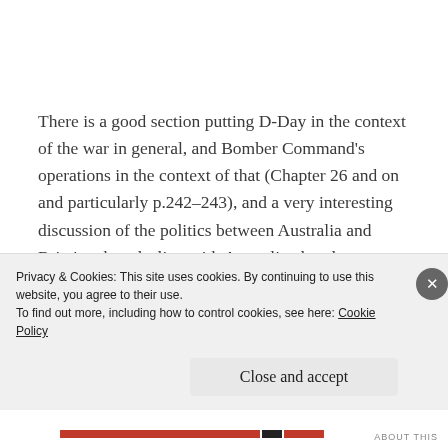There is a good section putting D-Day in the context of the war in general, and Bomber Command's operations in the context of that (Chapter 26 and on and particularly p.242–243), and a very interesting discussion of the politics between Australia and Britain when dealing with Australian bomber crews, as evidenced by a 'manpower fiddle' that left 462 and
Privacy & Cookies: This site uses cookies. By continuing to use this website, you agree to their use.
To find out more, including how to control cookies, see here: Cookie Policy